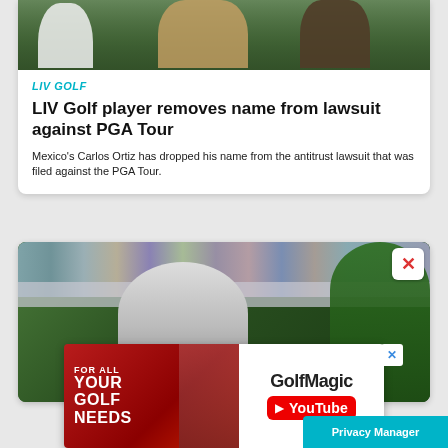[Figure (photo): Partial photo of golfers on a golf course green, upper portion visible]
LIV GOLF
LIV Golf player removes name from lawsuit against PGA Tour
Mexico's Carlos Ortiz has dropped his name from the antitrust lawsuit that was filed against the PGA Tour.
[Figure (photo): Golfer bending over on a course with crowd in the stands in the background and trees visible]
[Figure (screenshot): GolfMagic YouTube advertisement banner: 'FOR ALL YOUR GOLF NEEDS' on red background with GolfMagic YouTube branding on white background]